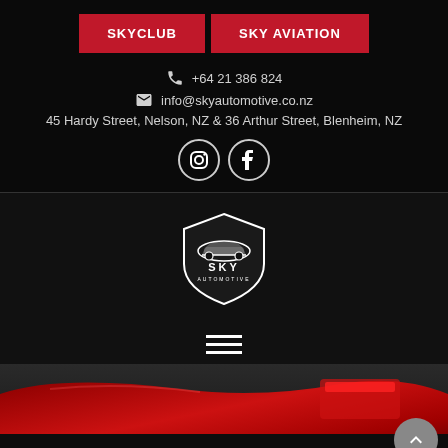SKYCLUB | SKY AVIATION
+64 21 386 824
info@skyautomotive.co.nz
45 Hardy Street, Nelson, NZ  &  36 Arthur Street, Blenheim, NZ
[Figure (logo): Sky Automotive logo — shield shape with car silhouette and SKY AUTOMOTIVE text]
[Figure (photo): Close-up of red car bodywork/tail light, partial view]